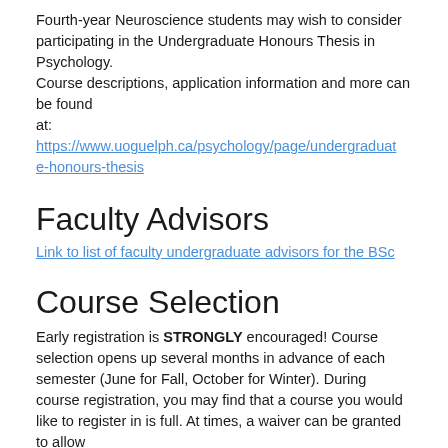Fourth-year Neuroscience students may wish to consider participating in the Undergraduate Honours Thesis in Psychology.
Course descriptions, application information and more can be found at: https://www.uoguelph.ca/psychology/page/undergraduate-honours-thesis
Faculty Advisors
Link to list of faculty undergraduate advisors for the BSc
Course Selection
Early registration is STRONGLY encouraged! Course selection opens up several months in advance of each semester (June for Fall, October for Winter). During course registration, you may find that a course you would like to register in is full. At times, a waiver can be granted to allow